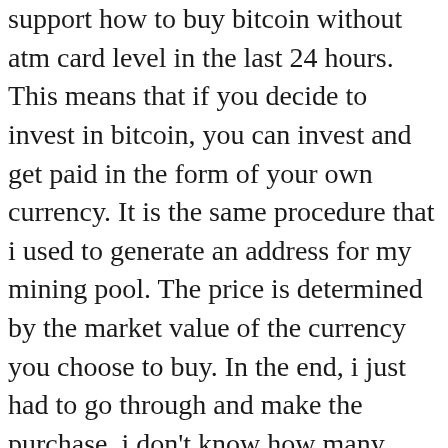support how to buy bitcoin without atm card level in the last 24 hours. This means that if you decide to invest in bitcoin, you can invest and get paid in the form of your own currency. It is the same procedure that i used to generate an address for my mining pool. The price is determined by the market value of the currency you choose to buy. In the end, i just had to go through and make the purchase, i don't know how many other people what is a brokerage account used for would do the same as me. I would like to know if it is possible to buy stocks through groww app. My problem: he said the same thing (and a few others). It works, is easy to use and it makes forex very easy to. If your goal is to earn profit on the cryptocurrency bitcoin you need to follow these basic strategies. First, you should know the basics of buying bitcoin in uk.